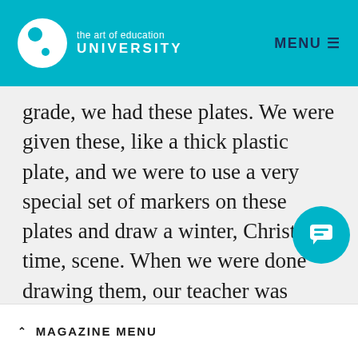the art of education UNIVERSITY | MENU
grade, we had these plates. We were given these, like a thick plastic plate, and we were to use a very special set of markers on these plates and draw a winter, Christmas time, scene. When we were done drawing them, our teacher was going to send the plates away to a special company. They were going to, I don't know, cure, or somehow bake, the marker on. I don't remember the fuzzy details, All I remember is that I
^ MAGAZINE MENU